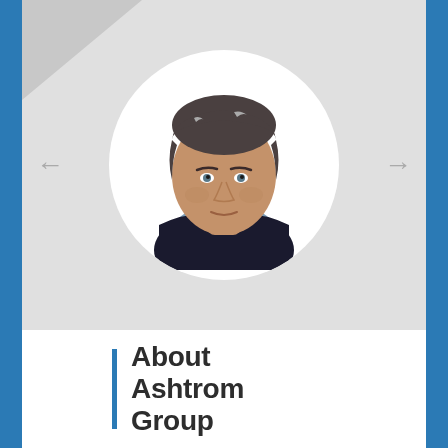[Figure (photo): Circular portrait photo of a middle-aged man with gray-streaked dark hair, wearing a dark jacket with light blue shirt, against a white circular background set on a light gray slide panel. Navigation arrows (← →) on either side.]
About Ashtrom Group